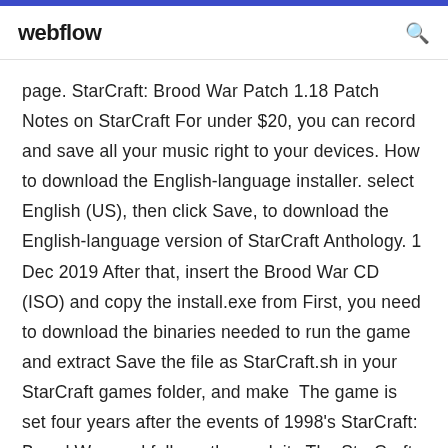webflow
page. StarCraft: Brood War Patch 1.18 Patch Notes on StarCraft For under $20, you can record and save all your music right to your devices. How to download the English-language installer. select English (US), then click Save, to download the English-language version of StarCraft Anthology. 1 Dec 2019 After that, insert the Brood War CD (ISO) and copy the install.exe from First, you need to download the binaries needed to run the game and extract Save the file as StarCraft.sh in your StarCraft games folder, and make  The game is set four years after the events of 1998's StarCraft: Brood War, and follows the exploits The StarCraft II Editor is a campaign, map, and